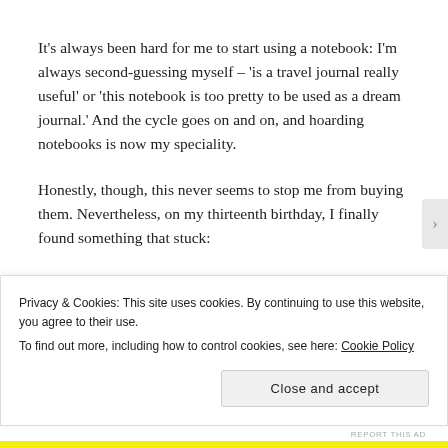It's always been hard for me to start using a notebook: I'm always second-guessing myself – 'is a travel journal really useful' or 'this notebook is too pretty to be used as a dream journal.' And the cycle goes on and on, and hoarding notebooks is now my speciality.
Honestly, though, this never seems to stop me from buying them. Nevertheless, on my thirteenth birthday, I finally found something that stuck: journalling So, let's get into why I love it so much!
Privacy & Cookies: This site uses cookies. By continuing to use this website, you agree to their use.
To find out more, including how to control cookies, see here: Cookie Policy
Close and accept